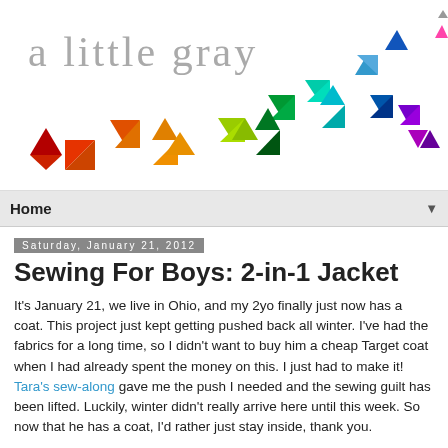[Figure (illustration): Blog header banner with 'a little gray' text and colorful triangle geometric pattern]
Home ▼
Saturday, January 21, 2012
Sewing For Boys: 2-in-1 Jacket
It's January 21, we live in Ohio, and my 2yo finally just now has a coat. This project just kept getting pushed back all winter. I've had the fabrics for a long time, so I didn't want to buy him a cheap Target coat when I had already spent the money on this. I just had to make it! Tara's sew-along gave me the push I needed and the sewing guilt has been lifted. Luckily, winter didn't really arrive here until this week. So now that he has a coat, I'd rather just stay inside, thank you.